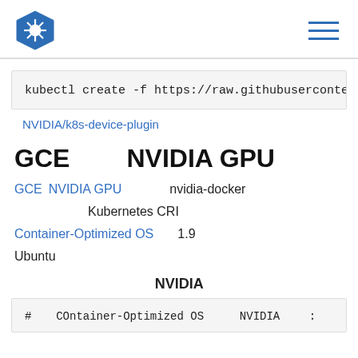[Figure (logo): Kubernetes logo - blue hexagon with helm wheel icon]
kubectl create -f https://raw.githubusercontent.
NVIDIA/k8s-device-plugin
GCE　　　　NVIDIA GPU
GCE　NVIDIA GPU　　　　　　　　nvidia-docker
Kubernetes CRI
Container-Optimized OS　　　　1.9
Ubuntu
NVIDIA
# 　 COntainer-Optimized OS 　　　 NVIDIA 　　: